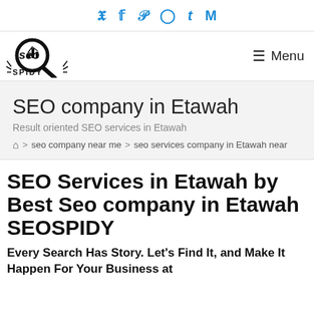𝕏 f 𝗣 ⊙ t M  (social icons)
[Figure (logo): SEO SPIDY logo with magnifying glass and bar chart]
☰ Menu
SEO company in Etawah
Result oriented SEO services in Etawah
⌂ > seo company near me > seo services company in Etawah near
SEO Services in Etawah by Best Seo company in Etawah SEOSPIDY
Every Search Has Story. Let's Find It, and Make It Happen For Your Business at